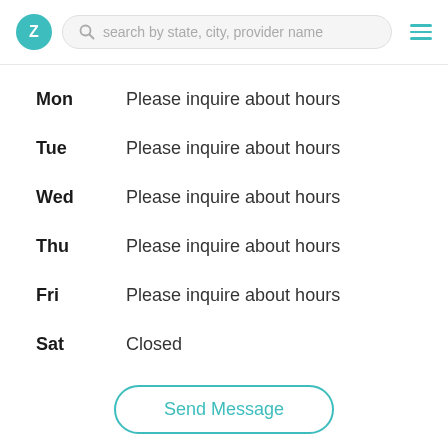Z  search by state, city, provider name
| Day | Hours |
| --- | --- |
| Mon | Please inquire about hours |
| Tue | Please inquire about hours |
| Wed | Please inquire about hours |
| Thu | Please inquire about hours |
| Fri | Please inquire about hours |
| Sat | Closed |
| Sun | Closed |
Online Sessions (Massachusetts) ♿
Send Message